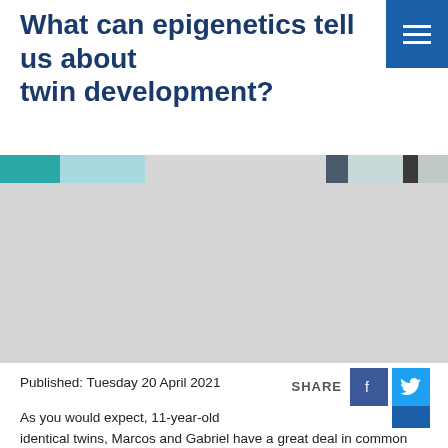What can epigenetics tell us about twin development?
[Figure (photo): Partial photograph of twins, mostly obscured by a light grey placeholder area with a teal/blue strip visible at the top edge.]
Published: Tuesday 20 April 2021
As you would expect, 11-year-old identical twins, Marcos and Gabriel have a great deal in common